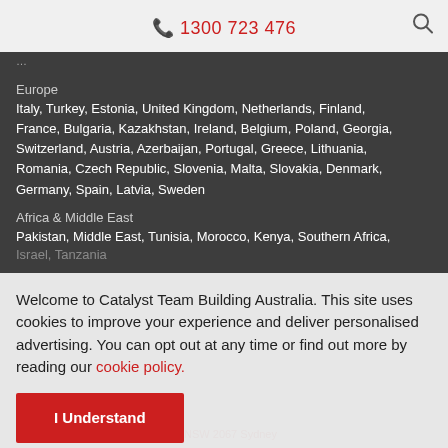1300 723 476
Europe
Italy, Turkey, Estonia, United Kingdom, Netherlands, Finland, France, Bulgaria, Kazakhstan, Ireland, Belgium, Poland, Georgia, Switzerland, Austria, Azerbaijan, Portugal, Greece, Lithuania, Romania, Czech Republic, Slovenia, Malta, Slovakia, Denmark, Germany, Spain, Latvia, Sweden
Africa & Middle East
Pakistan, Middle East, Tunisia, Morocco, Kenya, Southern Africa, Israel, Tanzania
Welcome to Catalyst Team Building Australia. This site uses cookies to improve your experience and deliver personalised advertising. You can opt out at any time or find out more by reading our cookie policy.
I Understand